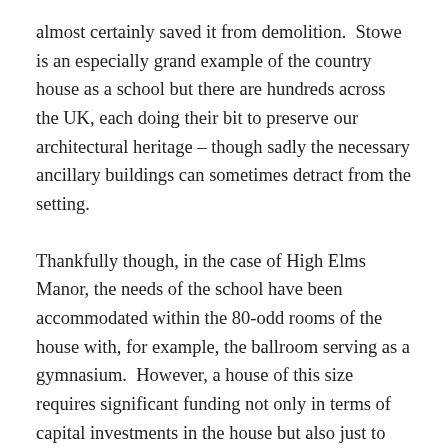almost certainly saved it from demolition.  Stowe is an especially grand example of the country house as a school but there are hundreds across the UK, each doing their bit to preserve our architectural heritage – though sadly the necessary ancillary buildings can sometimes detract from the setting.
Thankfully though, in the case of High Elms Manor, the needs of the school have been accommodated within the 80-odd rooms of the house with, for example, the ballroom serving as a gymnasium.  However, a house of this size requires significant funding not only in terms of capital investments in the house but also just to meet the £75,000 per year running costs.  Having bought it for £500,000, Sheila O'Neill estimates she has poured at least that much again in her quest to restore the house.  Faced with her own need for a replacement hip, and the relatively low profits